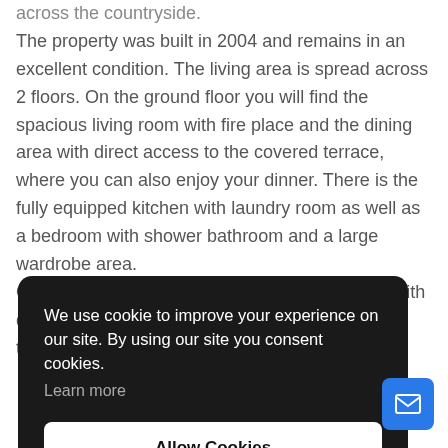across the countryside. The property was built in 2004 and remains in an excellent condition. The living area is spread across 2 floors. On the ground floor you will find the spacious living room with fire place and the dining area with direct access to the covered terrace, where you can also enjoy your dinner. There is the fully equipped kitchen with laundry room as well as a bedroom with shower bathroom and a large wardrobe area. On the first floor you have the master bedroom with dressing area, bathroom en suite and a private terrace as well as …room and … BBQ, there …e. You have …atures …nd double …
We use cookie to improve your experience on our site. By using our site you consent cookies. Learn more
Allow Cookies
Decline